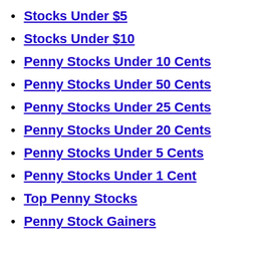Stocks Under $5
Stocks Under $10
Penny Stocks Under 10 Cents
Penny Stocks Under 50 Cents
Penny Stocks Under 25 Cents
Penny Stocks Under 20 Cents
Penny Stocks Under 5 Cents
Penny Stocks Under 1 Cent
Top Penny Stocks
Penny Stock Gainers